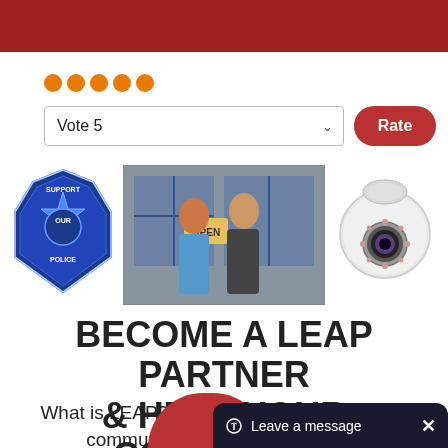[Figure (other): Red header bar at the top of the page]
[Figure (other): Five orange/amber filled circle stars indicating a rating]
Vote 5
Rate
[Figure (illustration): Three images side by side: a blue police badge with 'Support Our Police', a photo of two business owners (man and woman) standing in front of an open shop door with an OPEN sign, and a white dome security/CCTV camera]
BECOME A LEAP PARTNER & HELP YOUR COMMUNITY
What is LEAP? LEAP is our nationwide community CCTV...
[Figure (other): Red arc shape at bottom center and a dark chat/message overlay widget at bottom right reading 'Leave a message' with a close X button]